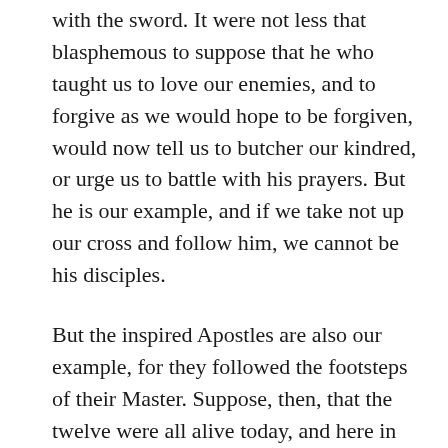with the sword. It were not less that blasphemous to suppose that he who taught us to love our enemies, and to forgive as we would hope to be forgiven, would now tell us to butcher our kindred, or urge us to battle with his prayers. But he is our example, and if we take not up our cross and follow him, we cannot be his disciples.
But the inspired Apostles are also our example, for they followed the footsteps of their Master. Suppose, then, that the twelve were all alive today, and here in our country – six of them in the South, and six in the North. Would they, like the hosts of sectarian preachers on both sides, be urging their brethren to the war? How degrading is the thought! And yet the men who claim to be the successors of the Apostles, are openly, before